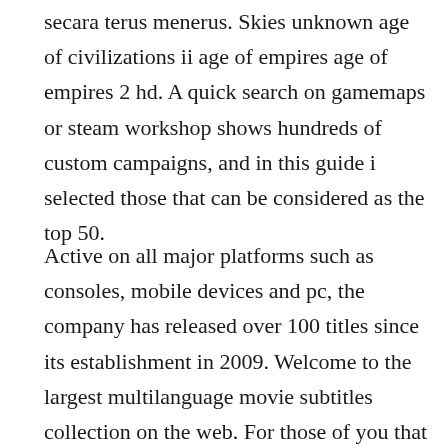secara terus menerus. Skies unknown age of civilizations ii age of empires age of empires 2 hd. A quick search on gamemaps or steam workshop shows hundreds of custom campaigns, and in this guide i selected those that can be considered as the top 50.
Active on all major platforms such as consoles, mobile devices and pc, the company has released over 100 titles since its establishment in 2009. Welcome to the largest multilanguage movie subtitles collection on the web. For those of you that had heard of a